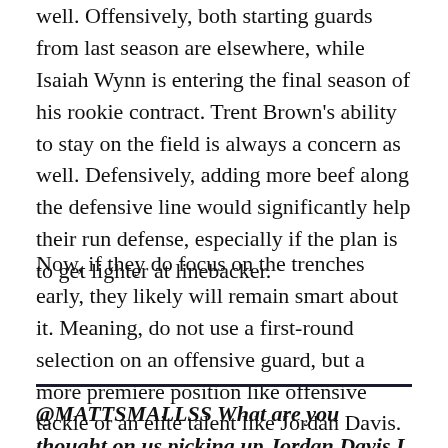well. Offensively, both starting guards from last season are elsewhere, while Isaiah Wynn is entering the final season of his rookie contract. Trent Brown's ability to stay on the field is always a concern as well. Defensively, adding more beef along the defensive line would significantly help their run defense, especially if the plan is to get lighter at linebacker.
Now, if they do focus on the trenches early, they likely will remain smart about it. Meaning, do not use a first-round selection on an offensive guard, but a more premiere position like offensive tackle or an elite talent like Jordan Davis.
@MATTSMALLSS What are you thought on us picking up Jordan Davis I think him and bar more